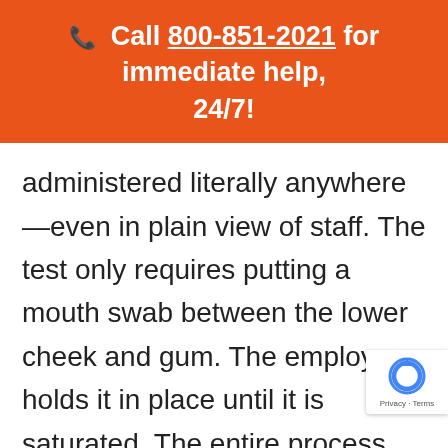📞 Call 800-851-2021 for immediate help, 24/7!
administered literally anywhere—even in plain view of staff. The test only requires putting a mouth swab between the lower cheek and gum. The employee holds it in place until it is saturated. The entire process rarely takes more than 5 minutes. Despite the claims we hear many drug users m the only way to pass a mouth swab